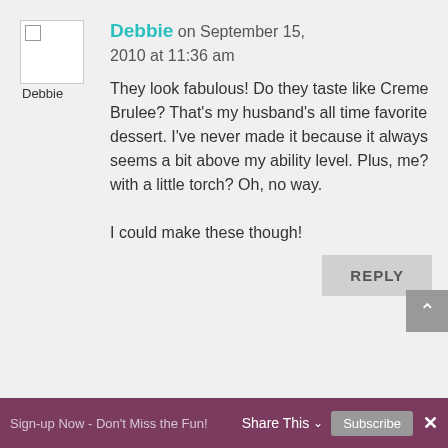[Figure (photo): Avatar image placeholder for user Debbie with broken image icon and label]
Debbie on September 15, 2010 at 11:36 am
They look fabulous! Do they taste like Creme Brulee? That’s my husband’s all time favorite dessert. I’ve never made it because it always seems a bit above my ability level. Plus, me? with a little torch? Oh, no way.

I could make these though!
REPLY
Sign-up Now - Don't Miss the Fun! Share This ∨ Subscribe ×